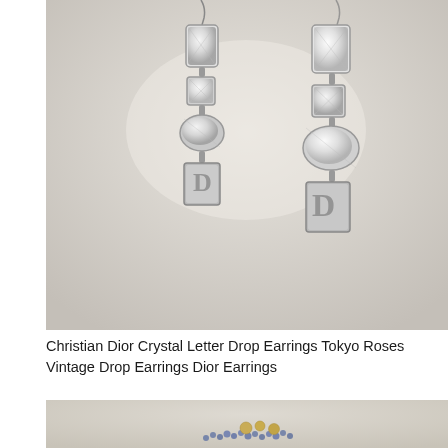[Figure (photo): Two crystal drop earrings with dangling letter 'D' charms, photographed on a light fabric background. The earrings feature multiple faceted clear crystals stacked vertically — a rectangular stone at top, a smaller square crystal, an oval crystal, and a rectangular letter 'D' charm at the bottom, set in silver-tone metal.]
Christian Dior Crystal Letter Drop Earrings Tokyo Roses Vintage Drop Earrings Dior Earrings
[Figure (photo): Partial view of a beaded brooch or jewelry piece with blue/navy seed beads and gold-tone decorative elements, shown cropped at bottom of page.]